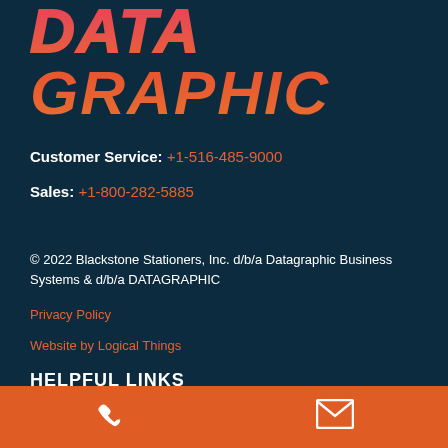DATA GRAPHIC
Customer Service: +1-516-485-9000
Sales: +1-800-282-5885
© 2022 Blackstone Stationers, Inc. d/b/a Datagraphic Business Systems & d/b/a DATAGRAPHIC
Privacy Policy
Website by Logical Things
HELPFUL LINKS
Request a Quote